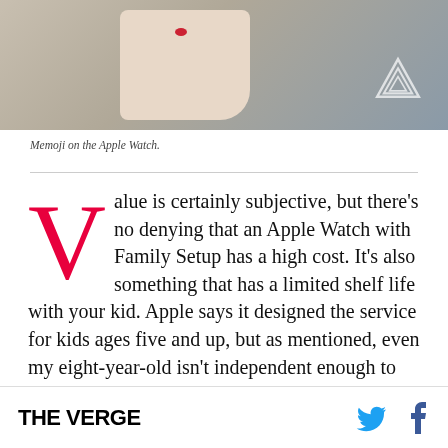[Figure (photo): Close-up photo of a thumb/finger with a small red heart Memoji sticker on the nail, set against a blurred blue-gray background. The Verge logo watermark (inverted triangle outline) is visible in the top-right corner of the image.]
Memoji on the Apple Watch.
Value is certainly subjective, but there's no denying that an Apple Watch with Family Setup has a high cost. It's also something that has a limited shelf life with your kid. Apple says it designed the service for kids ages five and up, but as mentioned, even my eight-year-old isn't independent enough to really make use of most of what it offers. Older kids can take more advantage of it, but it won't be long before they will not be
THE VERGE